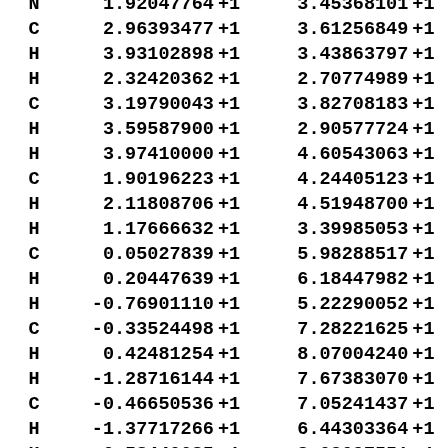| Atom | X | sX | Y | sY |
| --- | --- | --- | --- | --- |
| N | 1.92047764 | +1 | 3.45368101 | +1 |
| C | 2.96393477 | +1 | 3.61256849 | +1 |
| H | 3.93102898 | +1 | 3.43863797 | +1 |
| H | 2.32420362 | +1 | 2.70774989 | +1 |
| C | 3.19790043 | +1 | 3.82708183 | +1 |
| H | 3.59587900 | +1 | 2.90577724 | +1 |
| H | 3.97410000 | +1 | 4.60543063 | +1 |
| C | 1.90196223 | +1 | 4.24405123 | +1 |
| H | 2.11808706 | +1 | 4.51948700 | +1 |
| H | 1.17666632 | +1 | 3.39985053 | +1 |
| C | 0.05027839 | +1 | 5.98288517 | +1 |
| H | 0.20447639 | +1 | 6.18447982 | +1 |
| H | -0.76901110 | +1 | 5.22290052 | +1 |
| C | -0.33524498 | +1 | 7.28221625 | +1 |
| H | 0.42481254 | +1 | 8.07004240 | +1 |
| H | -1.28716144 | +1 | 7.67383070 | +1 |
| C | -0.46650536 | +1 | 7.05241437 | +1 |
| H | -1.37717266 | +1 | 6.44303364 | +1 |
| H | -0.58440685 | +1 | 8.02097551 | +1 |
| C | 1.42400264 | +1 | 5.49566871 | +1 |